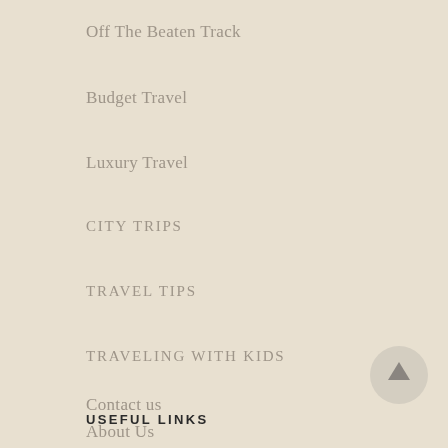Off The Beaten Track
Budget Travel
Luxury Travel
CITY TRIPS
TRAVEL TIPS
TRAVELING WITH KIDS
USEFUL LINKS
Contact us
About Us
[Figure (illustration): Scroll-to-top button: circular grey button with upward arrow]